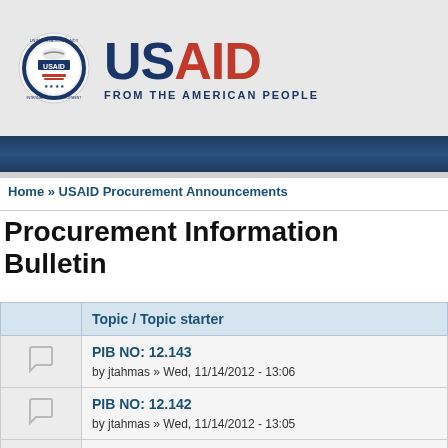[Figure (logo): USAID logo — circular seal with 'United States Agency for International Development' text and handshake graphic, beside large USAID wordmark in navy and red with 'FROM THE AMERICAN PEOPLE' subtitle]
Home » USAID Procurement Announcements
Procurement Information Bulletin
|  | Topic / Topic starter |
| --- | --- |
| [icon] | PIB NO: 12.143
by jtahmas » Wed, 11/14/2012 - 13:06 |
| [icon] | PIB NO: 12.142
by jtahmas » Wed, 11/14/2012 - 13:05 |
| [icon] | PIB NO: 12.141 |